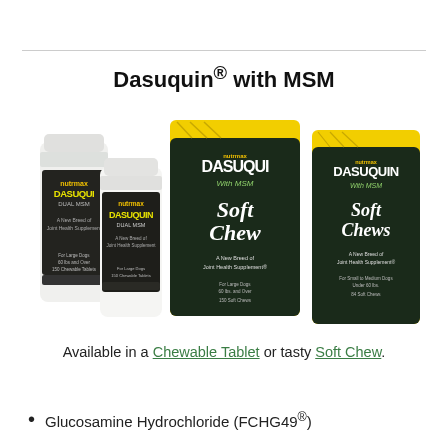Dasuquin® with MSM
[Figure (photo): Product photo showing four Dasuquin with MSM products: two white chewable tablet bottles and two black/yellow soft chew pouches (one large, one medium), all branded with 'DASUQUIN With MSM' and 'Soft Chews' or 'A New Breed of Joint Health Supplement' text.]
Available in a Chewable Tablet or tasty Soft Chew.
Glucosamine Hydrochloride (FCHG49®)